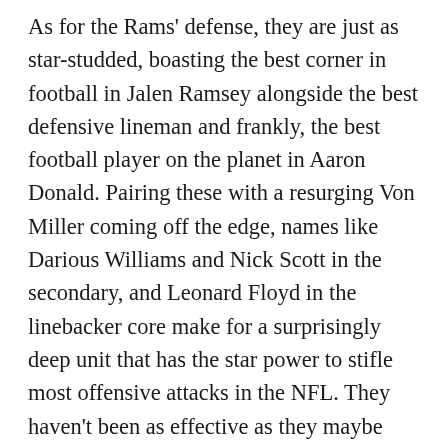As for the Rams' defense, they are just as star-studded, boasting the best corner in football in Jalen Ramsey alongside the best defensive lineman and frankly, the best football player on the planet in Aaron Donald. Pairing these with a resurging Von Miller coming off the edge, names like Darious Williams and Nick Scott in the secondary, and Leonard Floyd in the linebacker core make for a surprisingly deep unit that has the star power to stifle most offensive attacks in the NFL. They haven't been as effective as they maybe should be when it comes to talent on paper, but they have done enough to allow the offense to go to work and put games out of